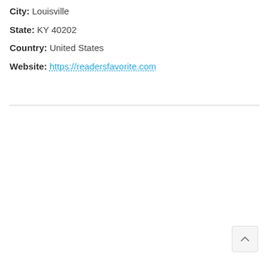City: Louisville
State: KY 40202
Country: United States
Website: https://readersfavorite.com